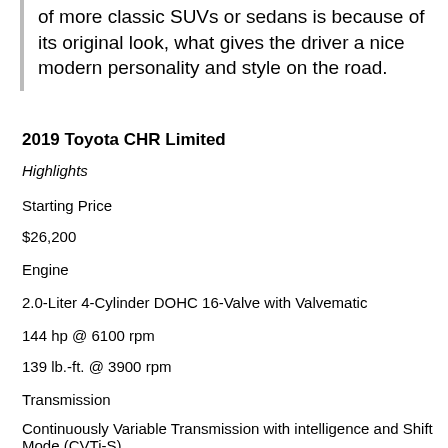of more classic SUVs or sedans is because of its original look, what gives the driver a nice modern personality and style on the road.
2019 Toyota CHR Limited
Highlights
Starting Price
$26,200
Engine
2.0-Liter 4-Cylinder DOHC 16-Valve with Valvematic
144 hp @ 6100 rpm
139 lb.-ft. @ 3900 rpm
Transmission
Continuously Variable Transmission with intelligence and Shift Mode (CVTi-S)